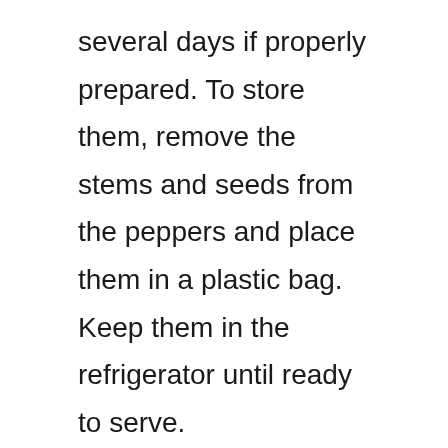several days if properly prepared. To store them, remove the stems and seeds from the peppers and place them in a plastic bag. Keep them in the refrigerator until ready to serve.
Related Posts
The Best Way To Reheat Custard – I Try 2 Methods [Pics]
Do you ever wonder if there's a better way to reheat custard?If you love